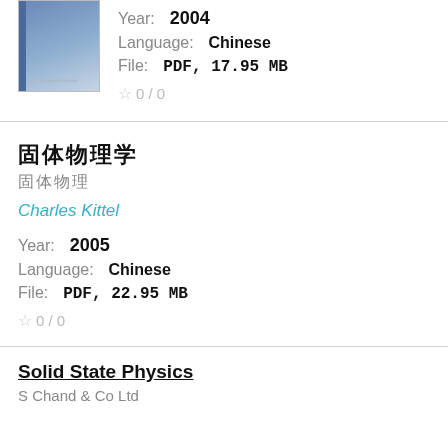[Figure (photo): Blue book cover thumbnail]
Year: 2004
Language: Chinese
File: PDF, 17.95 MB
☆ 0 / 0
固体物理学
固体物理
Charles Kittel
Year: 2005
Language: Chinese
File: PDF, 22.95 MB
☆ 0 / 0
Solid State Physics
S Chand & Co Ltd